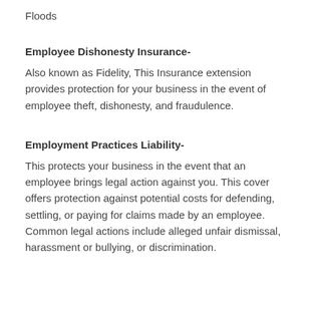Floods
Employee Dishonesty Insurance-
Also known as Fidelity, This Insurance extension provides protection for your business in the event of employee theft, dishonesty, and fraudulence.
Employment Practices Liability-
This protects your business in the event that an employee brings legal action against you. This cover offers protection against potential costs for defending, settling, or paying for claims made by an employee. Common legal actions include alleged unfair dismissal, harassment or bullying, or discrimination.